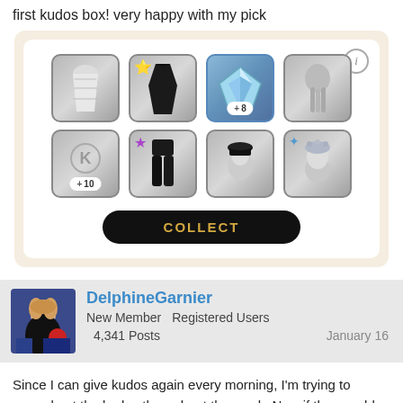first kudos box! very happy with my pick
[Figure (screenshot): A game UI showing a kudos box with 8 item slots in a 4x2 grid. Items include: a white skirt, a black dress with star badge, a diamond gem with +8 currency badge (highlighted/selected), a grey hair item, a K-letter item with +10 badge, black pants with purple star badge, a black hat avatar, and a sparkle headpiece avatar. A black COLLECT button is at the bottom.]
DelphineGarnier
New Member    Registered Users
4,341 Posts
January 16
Since I can give kudos again every morning, I'm trying to spread out the kudos throughout the week. Now if they could just stick to only giving me female items I'll actually